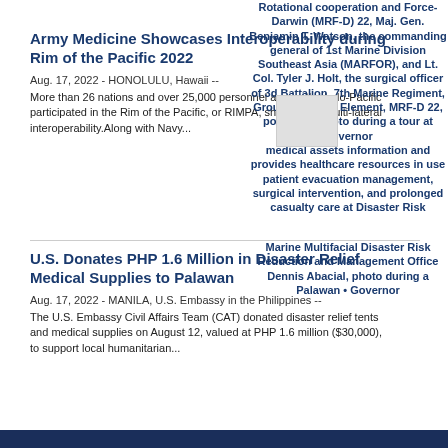Army Medicine Showcases Interoperability during Rim of the Pacific 2022
Aug. 17, 2022 - HONOLULU, Hawaii -- More than 26 nations and over 25,000 personnel across the Indo-Pacific participated in the Rim of the Pacific, or RIMPA, showcasing multi-lateral interoperability. Along with Navy...
[Figure (photo): Overlapping image and text about Rotational cooperation and Force-Darwin (MRF-D) 22, Maj. Gen. Benjamin T. Watson, commanding general of 1st Marine Division Southeast Asia (MARFOR), and Lt. Col. Tyler J. Holt, surgical officer of 3d Battalion, 7th Marine Regiment, Ground Combat Element, MRF-D 22, pose for a photo during a tour at Governor]
U.S. Donates PHP 1.6 Million in Disaster Relief Medical Supplies to Palawan
Aug. 17, 2022 - MANILA, U.S. Embassy in the Philippines -- The U.S. Embassy Civil Affairs Team (CAT) donated disaster relief tents and medical supplies on August 12, valued at PHP 1.6 million ($30,000), to support local humanitarian...
[Figure (photo): Overlapping image and text about Marine Multifacial Disaster Risk Reduction and Management Office Dennis Abacial, photo during a Palawan Governor tour at]